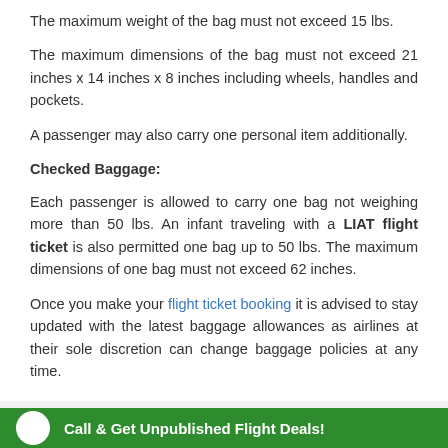The maximum weight of the bag must not exceed 15 lbs.
The maximum dimensions of the bag must not exceed 21 inches x 14 inches x 8 inches including wheels, handles and pockets.
A passenger may also carry one personal item additionally.
Checked Baggage:
Each passenger is allowed to carry one bag not weighing more than 50 lbs. An infant traveling with a LIAT flight ticket is also permitted one bag up to 50 lbs. The maximum dimensions of one bag must not exceed 62 inches.
Once you make your flight ticket booking it is advised to stay updated with the latest baggage allowances as airlines at their sole discretion can change baggage policies at any time.
Other Popular Airlines
UnitedAirlines
Call & Get Unpublished Flight Deals!